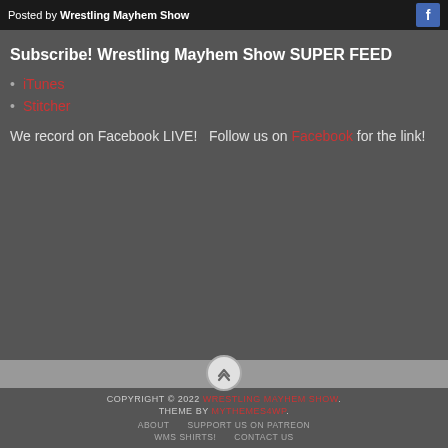Posted by Wrestling Mayhem Show
Subscribe! Wrestling Mayhem Show SUPER FEED
iTunes
Stitcher
We record on Facebook LIVE!   Follow us on Facebook for the link!
COPYRIGHT © 2022 WRESTLING MAYHEM SHOW. THEME BY MYTHEMES4WP. ABOUT   SUPPORT US ON PATREON   WMS SHIRTS!   CONTACT US